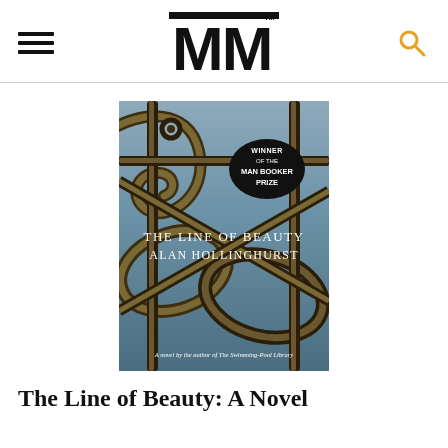MM (logo) with hamburger menu and search icon
[Figure (photo): Book cover of 'The Line of Beauty' by Alan Hollinghurst. Shows ornate iron scrollwork/gate in dark tones. An oval black badge reads 'WINNER OF THE MAN BOOKER PRIZE'. Title text reads 'The Line of Beauty / Alan Hollinghurst'. Subtitle at bottom: 'A novel by the author of The Swimming-Pool Library'.]
The Line of Beauty: A Novel